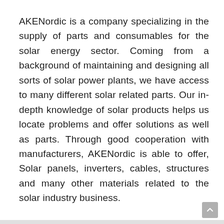AKENordic is a company specializing in the supply of parts and consumables for the solar energy sector. Coming from a background of maintaining and designing all sorts of solar power plants, we have access to many different solar related parts. Our in-depth knowledge of solar products helps us locate problems and offer solutions as well as parts. Through good cooperation with manufacturers, AKENordic is able to offer, Solar panels, inverters, cables, structures and many other materials related to the solar industry business.